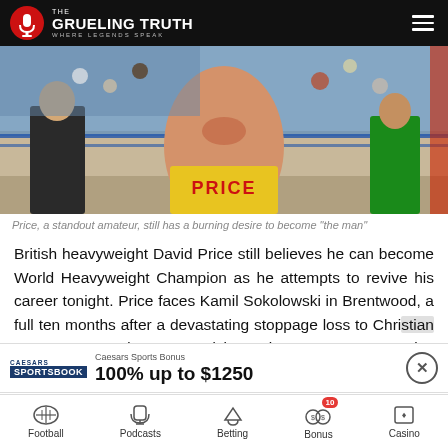THE GRUELING TRUTH — WHERE LEGENDS SPEAK
[Figure (photo): Boxer David Price from behind, showing his back and yellow shorts with 'PRICE' written on them, standing in a boxing ring with crowd in background]
Price, a standout amateur, still has a burning desire to become "the man"
British heavyweight David Price still believes he can become World Heavyweight Champion as he attempts to revive his career tonight. Price faces Kamil Sokolowski in Brentwood, a full ten months after a devastating stoppage loss to Christian Hammer caused most to advise retirement. Now 34, Price has
[Figure (infographic): Caesars Sportsbook advertisement banner: 100% up to $1250 bonus offer]
Football | Podcasts | Betting | Bonus | Casino